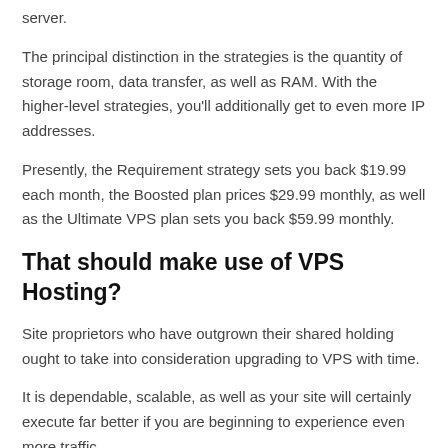server.
The principal distinction in the strategies is the quantity of storage room, data transfer, as well as RAM. With the higher-level strategies, you'll additionally get to even more IP addresses.
Presently, the Requirement strategy sets you back $19.99 each month, the Boosted plan prices $29.99 monthly, as well as the Ultimate VPS plan sets you back $59.99 monthly.
That should make use of VPS Hosting?
Site proprietors who have outgrown their shared holding ought to take into consideration upgrading to VPS with time.
It is dependable, scalable, as well as your site will certainly execute far better if you are beginning to experience even more traffic.